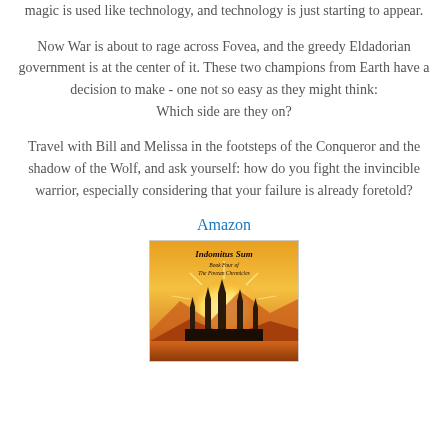magic is used like technology, and technology is just starting to appear.
Now War is about to rage across Fovea, and the greedy Eldadorian government is at the center of it. These two champions from Earth have a decision to make - one not so easy as they might think: Which side are they on?
Travel with Bill and Melissa in the footsteps of the Conqueror and the shadow of the Wolf, and ask yourself: how do you fight the invincible warrior, especially considering that your failure is already foretold?
Amazon
[Figure (illustration): Book cover for 'Indomitus Sum - Book Four of The Fovean Chronicles' showing a fantasy castle with spires against a sunset sky with desert landscape]